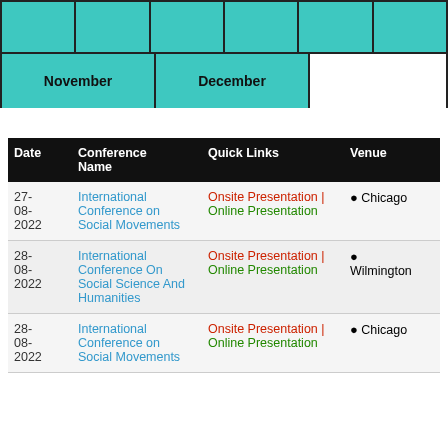[Figure (other): Calendar month selector showing November and December highlighted in teal/green]
| Date | Conference Name | Quick Links | Venue |
| --- | --- | --- | --- |
| 27-08-2022 | International Conference on Social Movements | Onsite Presentation | Online Presentation | 📍 Chicago |
| 28-08-2022 | International Conference On Social Science And Humanities | Onsite Presentation | Online Presentation | 📍 Wilmington |
| 28-08-2022 | International Conference on Social Movements | Onsite Presentation | Online Presentation | 📍 Chicago |